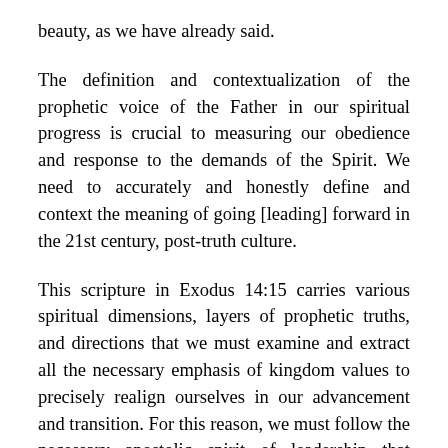beauty, as we have already said.
The definition and contextualization of the prophetic voice of the Father in our spiritual progress is crucial to measuring our obedience and response to the demands of the Spirit. We need to accurately and honestly define and context the meaning of going [leading] forward in the 21st century, post-truth culture.
This scripture in Exodus 14:15 carries various spiritual dimensions, layers of prophetic truths, and directions that we must examine and extract all the necessary emphasis of kingdom values to precisely realign ourselves in our advancement and transition. For this reason, we must follow the necessary apostolic spirit of leadership that heaven is releasing to march the demand of the current epoch, as we are told